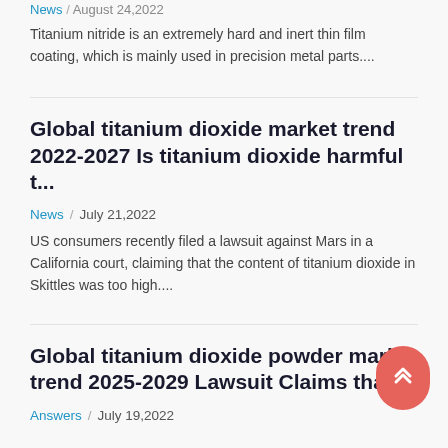News / August 24,2022
Titanium nitride is an extremely hard and inert thin film coating, which is mainly used in precision metal parts....
Global titanium dioxide market trend 2022-2027 Is titanium dioxide harmful t...
News / July 21,2022
US consumers recently filed a lawsuit against Mars in a California court, claiming that the content of titanium dioxide in Skittles was too high....
Global titanium dioxide powder market trend 2025-2029 Lawsuit Claims that...
Answers / July 19,2022